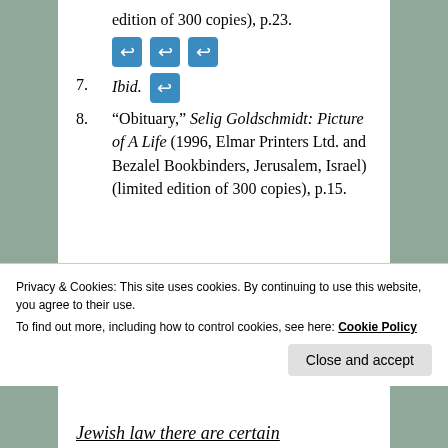edition of 300 copies), p.23.
7. Ibid.
8. “Obituary,” Selig Goldschmidt: Picture of A Life (1996, Elmar Printers Ltd. and Bezalel Bookbinders, Jerusalem, Israel)(limited edition of 300 copies), p.15.
Privacy & Cookies: This site uses cookies. By continuing to use this website, you agree to their use. To find out more, including how to control cookies, see here: Cookie Policy
Jewish law there are certain